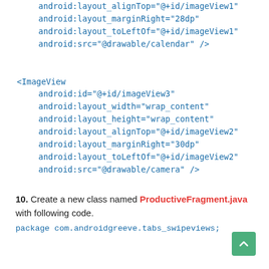android:layout_alignTop="@+id/imageView1"
    android:layout_marginRight="28dp"
    android:layout_toLeftOf="@+id/imageView1"
    android:src="@drawable/calendar" />

<ImageView
    android:id="@+id/imageView3"
    android:layout_width="wrap_content"
    android:layout_height="wrap_content"
    android:layout_alignTop="@+id/imageView2"
    android:layout_marginRight="30dp"
    android:layout_toLeftOf="@+id/imageView2"
    android:src="@drawable/camera" />
10. Create a new class named ProductiveFragment.java with following code.
package com.androidgreeve.tabs_swipeviews;